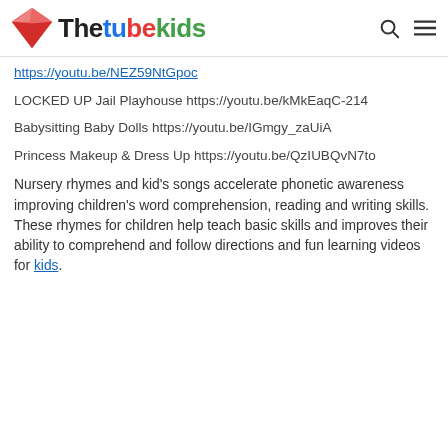Thetubekids
https://youtu.be/NEZ59NtGpoc
LOCKED UP Jail Playhouse https://youtu.be/kMkEaqC-214
Babysitting Baby Dolls https://youtu.be/IGmgy_zaUiA
Princess Makeup & Dress Up https://youtu.be/QzIUBQvN7to
Nursery rhymes and kid's songs accelerate phonetic awareness improving children's word comprehension, reading and writing skills. These rhymes for children help teach basic skills and improves their ability to comprehend and follow directions and fun learning videos for kids.